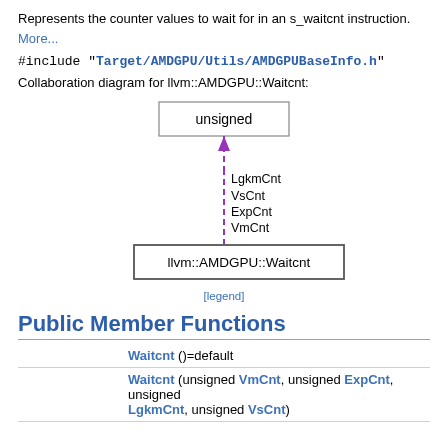Represents the counter values to wait for in an s_waitcnt instruction.
More...
#include "Target/AMDGPU/Utils/AMDGPUBaseInfo.h"
Collaboration diagram for llvm::AMDGPU::Waitcnt:
[Figure (flowchart): Collaboration diagram showing 'unsigned' box at top connected by a dashed purple arrow (pointing up) to 'llvm::AMDGPU::Waitcnt' box at bottom. Along the arrow are labels: LgkmCnt, VsCnt, ExpCnt, VmCnt.]
[legend]
Public Member Functions
| Waitcnt ()=default |
| Waitcnt (unsigned VmCnt, unsigned ExpCnt, unsigned LgkmCnt, unsigned VsCnt) |